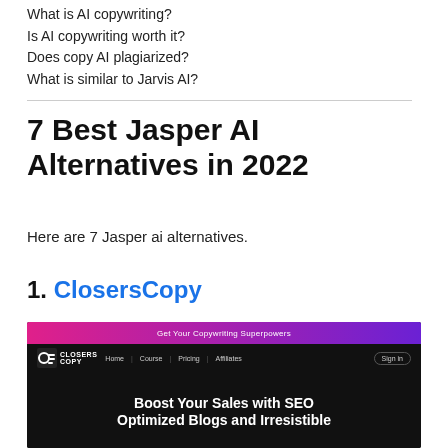What is AI copywriting?
Is AI copywriting worth it?
Does copy AI plagiarized?
What is similar to Jarvis AI?
7 Best Jasper AI Alternatives in 2022
Here are 7 Jasper ai alternatives.
1. ClosersCopy
[Figure (screenshot): Screenshot of ClosersCopy website showing a dark-themed navigation bar with the ClosersCopy logo, nav links (Home, Course, Pricing, Affiliates), a Sign in button, a gradient pink-to-purple top bar reading 'Get Your Copywriting Superpowers', and a bold white headline 'Boost Your Sales with SEO Optimized Blogs and Irresistible']